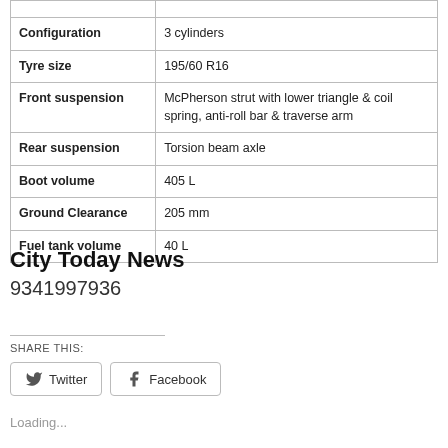| Specification | Value |
| --- | --- |
| Configuration | 3 cylinders |
| Tyre size | 195/60 R16 |
| Front suspension | McPherson strut with lower triangle & coil spring, anti-roll bar & traverse arm |
| Rear suspension | Torsion beam axle |
| Boot volume | 405 L |
| Ground Clearance | 205 mm |
| Fuel tank volume | 40 L |
City Today News
9341997936
SHARE THIS:
Twitter   Facebook
Loading...